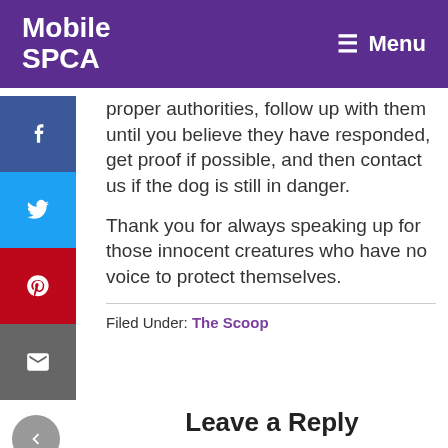Mobile SPCA  Menu
proper authorities, follow up with them until you believe they have responded, get proof if possible, and then contact us if the dog is still in danger.
Thank you for always speaking up for those innocent creatures who have no voice to protect themselves.
Filed Under: The Scoop
Leave a Reply